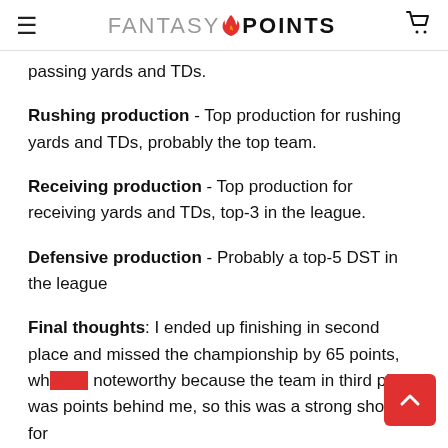FANTASY POINTS
passing yards and TDs.
Rushing production - Top production for rushing yards and TDs, probably the top team.
Receiving production - Top production for receiving yards and TDs, top-3 in the league.
Defensive production - Probably a top-5 DST in the league
Final thoughts: I ended up finishing in second place and missed the championship by 65 points, wh... noteworthy because the team in third place was points behind me, so this was a strong showing for